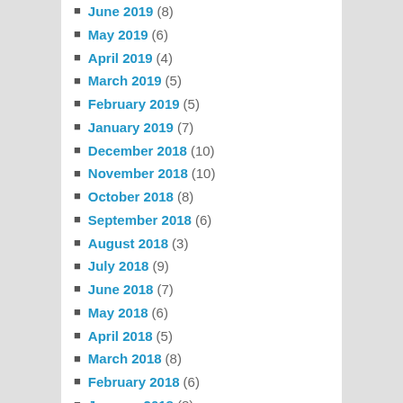May 2019 (6)
April 2019 (4)
March 2019 (5)
February 2019 (5)
January 2019 (7)
December 2018 (10)
November 2018 (10)
October 2018 (8)
September 2018 (6)
August 2018 (3)
July 2018 (9)
June 2018 (7)
May 2018 (6)
April 2018 (5)
March 2018 (8)
February 2018 (6)
January 2018 (8)
December 2017 (8)
November 2017 (10)
October 2017 (10)
September 2017 (5)